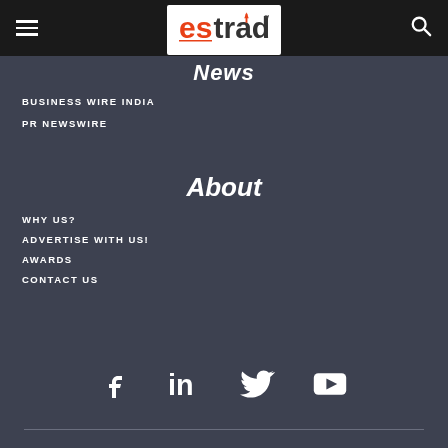estrade (logo navigation bar)
News
BUSINESS WIRE INDIA
PR NEWSWIRE
About
WHY US?
ADVERTISE WITH US!
AWARDS
CONTACT US
[Figure (other): Social media icons: Facebook, LinkedIn, Twitter, YouTube]